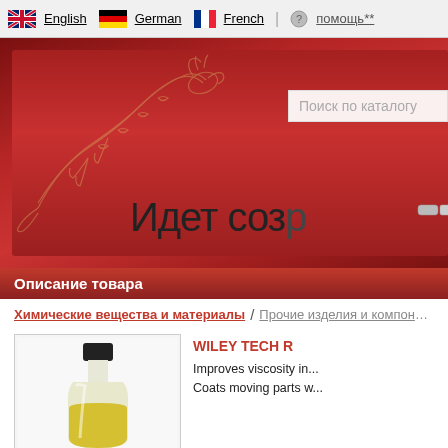English | German | French | помощь**
[Figure (screenshot): Website header banner with red gradient background and gold dragon illustration on the left. Contains a search box labeled 'Поиск по каталогу' and large text 'Идет соз...' (loading/creating text).]
Описание товара
Химические вещества и материалы / Прочие изделия и компоненты
[Figure (photo): Product photo of a bottle with yellow liquid (oil) and black cap on white background.]
WILEY TECH R...
Improves viscosity in... Coats moving parts w...